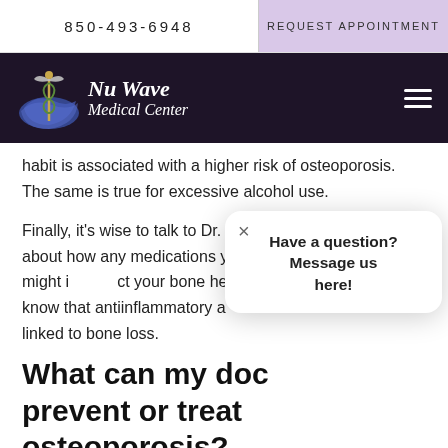850-493-6948
REQUEST APPOINTMENT
[Figure (logo): Nu Wave Medical Center logo with caduceus symbol on dark purple navigation bar]
habit is associated with a higher risk of osteoporosis. The same is true for excessive alcohol use.
Finally, it's wise to talk to Dr. Sekhon about how any medications you take might impact your bone health. We know that antiinflammatory and are linked to bone loss.
What can my doc prevent or treat osteoporosis?
Fortunately, Dr. Sekhon views her relationship with a partnership, so she works with you to test you for
Have a question? Message us here!